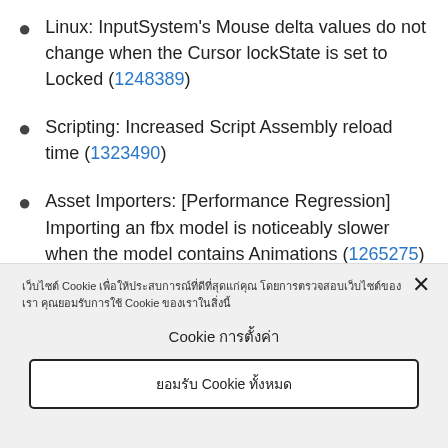Linux: InputSystem's Mouse delta values do not change when the Cursor lockState is set to Locked (1248389)
Scripting: Increased Script Assembly reload time (1323490)
Asset Importers: [Performance Regression] Importing an fbx model is noticeably slower when the model contains Animations (1265275)
Cookie notice and settings text (Thai language). Cookie settings button. Accept all cookies button.